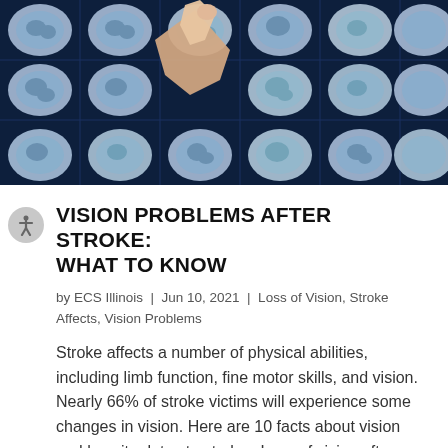[Figure (photo): A hand pointing at brain MRI scans on a light board, showing multiple cross-section images of a human brain arranged in a grid on a dark navy background.]
VISION PROBLEMS AFTER STROKE: WHAT TO KNOW
by ECS Illinois | Jun 10, 2021 | Loss of Vision, Stroke Affects, Vision Problems
Stroke affects a number of physical abilities, including limb function, fine motor skills, and vision. Nearly 66% of stroke victims will experience some changes in vision. Here are 10 facts about vision and how it relates to stroke. Loss of vision after stroke.